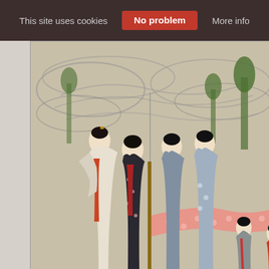This site uses cookies   No problem   More info
[Figure (illustration): Japanese ukiyo-e woodblock print showing six beauties (women) in traditional robes. Left panel shows two women in colorful kimono with swirling wind background. Right panels show four women fulling/washing a long pink bolt of fabric, with baskets and barrels nearby. Background has stylized trees and wind patterns.]
Click here to view image full size.
Six beauties represent... are shown fulling, wa... attribute being bestow... 1804.
Fine impression. Apa... preserved. Very good...